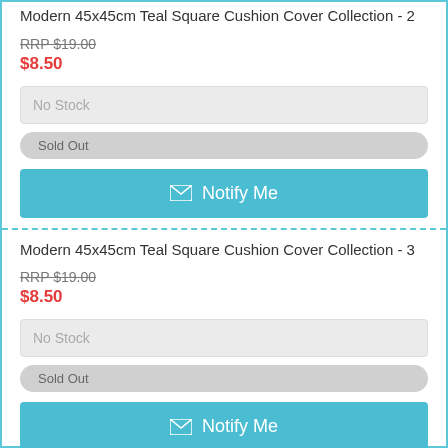Modern 45x45cm Teal Square Cushion Cover Collection - 2
RRP $19.00
$8.50
No Stock
Sold Out
Notify Me
Modern 45x45cm Teal Square Cushion Cover Collection - 3
RRP $19.00
$8.50
No Stock
Sold Out
Notify Me